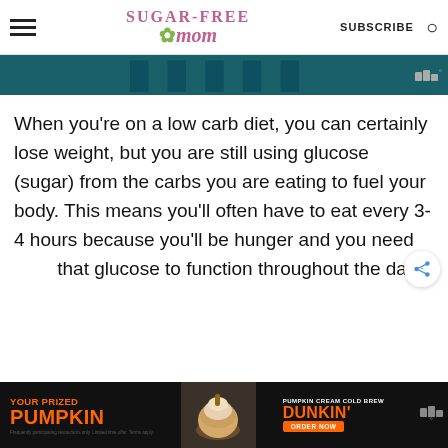Sugar-Free Mom | SUBSCRIBE
[Figure (screenshot): Partial banner advertisement with teal/dark background and blurred text]
When you're on a low carb diet, you can certainly lose weight, but you are still using glucose (sugar) from the carbs you are eating to fuel your body. This means you'll often have to eat every 3-4 hours because you'll be hunger and you need that glucose to function throughout the day.
[Figure (photo): Dunkin' Pumpkin Cream Cold Brew advertisement banner at bottom of page]